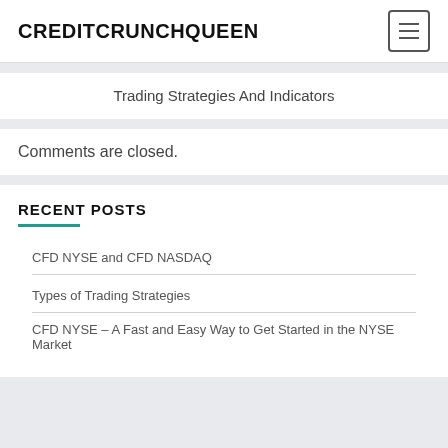CREDITCRUNCHQUEEN
Trading Strategies And Indicators
Comments are closed.
RECENT POSTS
CFD NYSE and CFD NASDAQ
Types of Trading Strategies
CFD NYSE – A Fast and Easy Way to Get Started in the NYSE Market